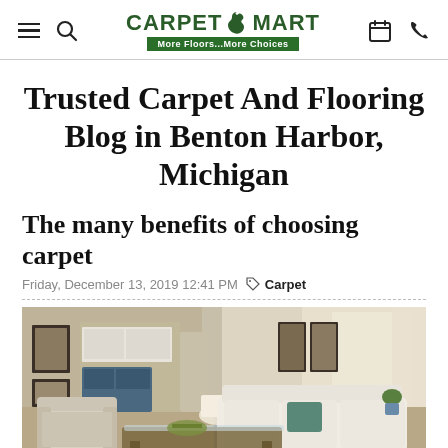CARPET MART - More Floors...More Choices
Trusted Carpet And Flooring Blog in Benton Harbor, Michigan
The many benefits of choosing carpet
Friday, December 13, 2019 12:41 PM  Carpet
[Figure (photo): Interior living room scene with white sofas, armchairs, a glass coffee table, a floor lamp, framed artwork on walls, and a view into a kitchen area with blue cabinetry.]